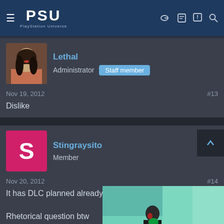PSU PlayStation Universe
[Figure (photo): Avatar photo of user Lethal, a woman with dark hair]
Lethal
Administrator  Staff member
Nov 19, 2012   #13
Dislike
[Figure (illustration): Pink square avatar with letter S for user Stingraysito]
Stingraysito
Member
Nov 20, 2012   #14
It has DLC planned already?
Rhetorical question btw
[Figure (screenshot): Game screenshot with text overlay: DEVELOPER TEAM REPTILE HAS OFFICIALLY DELAYED BOMB RUSH CYBERFUNK]